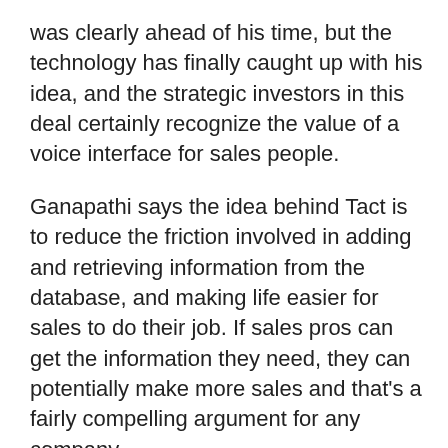was clearly ahead of his time, but the technology has finally caught up with his idea, and the strategic investors in this deal certainly recognize the value of a voice interface for sales people.
Ganapathi says the idea behind Tact is to reduce the friction involved in adding and retrieving information from the database, and making life easier for sales to do their job. If sales pros can get the information they need, they can potentially make more sales and that's a fairly compelling argument for any company.